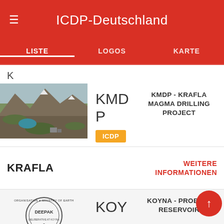ICDP-Deutschland
LISTE | LOGOS | KARTE
K
[Figure (photo): Aerial view of a volcanic landscape with a crater lake, rocky terrain, and patches of snow. Likely Krafla, Iceland.]
KMDP
ICDP
KMDP - KRAFLA MAGMA DRILLING PROJECT
KRAFLA
WEITERE INFORMATIONEN
[Figure (logo): Circular seal/badge reading ORGANISATION MINISTRY OF EARTH SCIENCE DEEPAK DELIBERATIVE At Koyna with text around the edge]
KOY
KOYNA - PROBING RESERVOIR